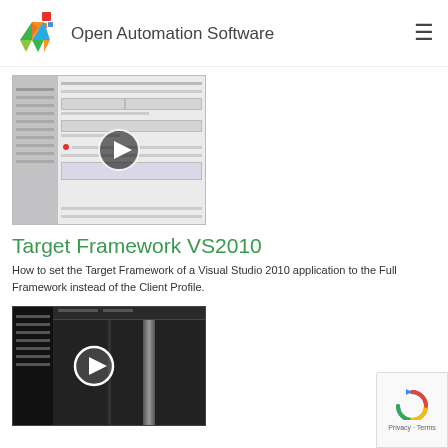Open Automation Software
[Figure (screenshot): Screenshot of a Visual Studio 2010 project settings dialog with a play button overlay indicating a video thumbnail]
Target Framework VS2010
How to set the Target Framework of a Visual Studio 2010 application to the Full Framework instead of the Client Profile.
[Figure (screenshot): Screenshot of what appears to be a dark-themed software interface with a play button overlay indicating a video thumbnail]
[Figure (logo): Google reCAPTCHA badge with Privacy and Terms links]